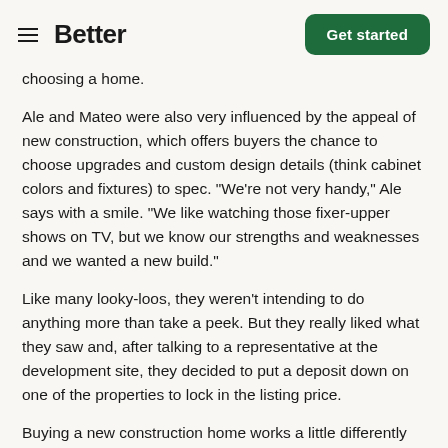Better | Get started
choosing a home.
Ale and Mateo were also very influenced by the appeal of new construction, which offers buyers the chance to choose upgrades and custom design details (think cabinet colors and fixtures) to spec. "We're not very handy," Ale says with a smile. "We like watching those fixer-upper shows on TV, but we know our strengths and weaknesses and we wanted a new build."
Like many looky-loos, they weren't intending to do anything more than take a peek. But they really liked what they saw and, after talking to a representative at the development site, they decided to put a deposit down on one of the properties to lock in the listing price.
Buying a new construction home works a little differently than buying an existing home. In Mateo and Ale's case, their house would be built over the course of the upcoming year and their